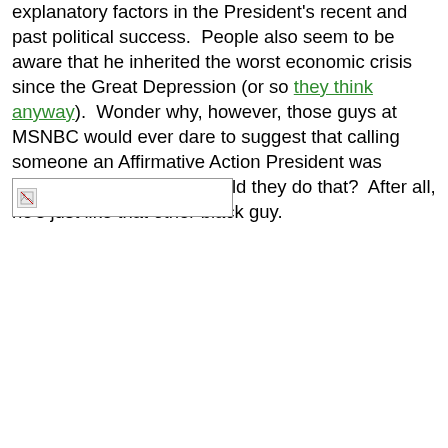explanatory factors in the President's recent and past political success.  People also seem to be aware that he inherited the worst economic crisis since the Great Depression (or so they think anyway).  Wonder why, however, those guys at MSNBC would ever dare to suggest that calling someone an Affirmative Action President was somehow racist.  Why would they do that?  After all, he's just like that other black guy.
[Figure (other): Broken image placeholder — a rectangular box with a small broken image icon in the top-left corner]